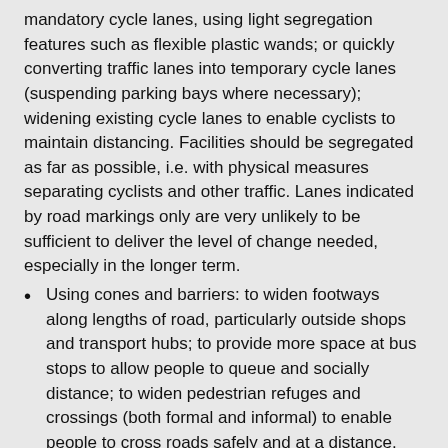mandatory cycle lanes, using light segregation features such as flexible plastic wands; or quickly converting traffic lanes into temporary cycle lanes (suspending parking bays where necessary); widening existing cycle lanes to enable cyclists to maintain distancing. Facilities should be segregated as far as possible, i.e. with physical measures separating cyclists and other traffic. Lanes indicated by road markings only are very unlikely to be sufficient to deliver the level of change needed, especially in the longer term.
Using cones and barriers: to widen footways along lengths of road, particularly outside shops and transport hubs; to provide more space at bus stops to allow people to queue and socially distance; to widen pedestrian refuges and crossings (both formal and informal) to enable people to cross roads safely and at a distance.
Encouraging walking and cycling to school, for example through the introduction of more 'school streets'.